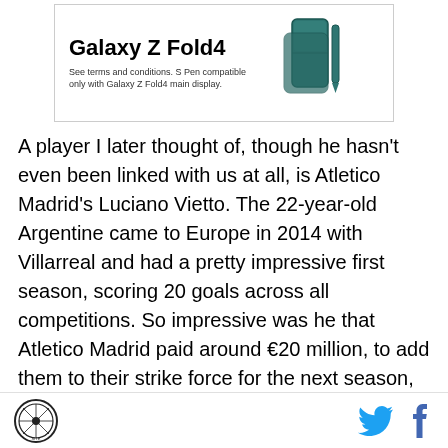[Figure (advertisement): Samsung Galaxy Z Fold4 advertisement. Shows the phone with bold text 'Galaxy Z Fold4' and subtext 'See terms and conditions. S Pen compatible only with Galaxy Z Fold4 main display.' Phone image on the right.]
A player I later thought of, though he hasn't even been linked with us at all, is Atletico Madrid's Luciano Vietto. The 22-year-old Argentine came to Europe in 2014 with Villarreal and had a pretty impressive first season, scoring 20 goals across all competitions. So impressive was he that Atletico Madrid paid around €20 million, to add them to their strike force for the next season, along with Jackson Martinez and Fernando Torres. His season with Atletico did not turn out to be as impressive, with much fewer opportunities and less
Site logo | Twitter | Facebook